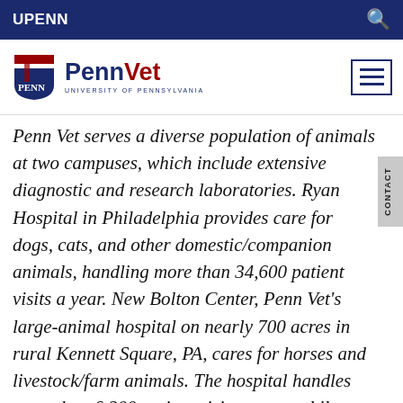UPENN
[Figure (logo): PennVet University of Pennsylvania logo with shield]
Penn Vet serves a diverse population of animals at two campuses, which include extensive diagnostic and research laboratories. Ryan Hospital in Philadelphia provides care for dogs, cats, and other domestic/companion animals, handling more than 34,600 patient visits a year. New Bolton Center, Penn Vet's large-animal hospital on nearly 700 acres in rural Kennett Square, PA, cares for horses and livestock/farm animals. The hospital handles more than 6,200 patient visits a year, while our Field Services have gone out on more than 5,500 farm